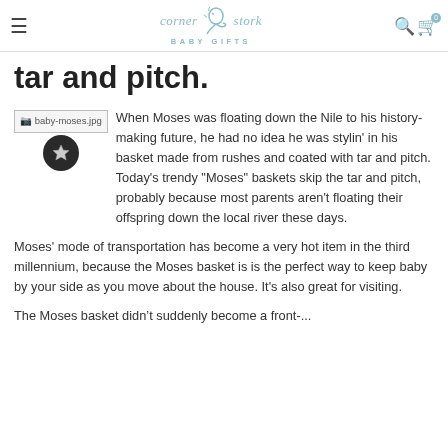Corner Stork Baby Gifts — navigation header
tar and pitch.
[Figure (photo): Broken image placeholder labeled baby-moses.jpg with a star badge overlay]
When Moses was floating down the Nile to his history-making future, he had no idea he was stylin' in his basket made from rushes and coated with tar and pitch. Today's trendy "Moses" baskets skip the tar and pitch, probably because most parents aren't floating their offspring down the local river these days.
Moses' mode of transportation has become a very hot item in the third millennium, because the Moses basket is is the perfect way to keep baby by your side as you move about the house. It's also great for visiting.
The Moses basket didn't suddenly become a front-...